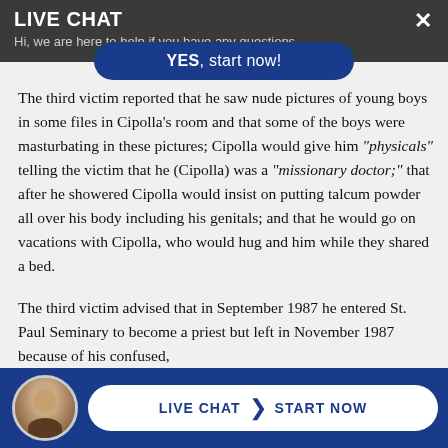LIVE CHAT
Hi, we are here to help if you have any questions...
[Figure (screenshot): Blue rounded button with text YES, start now!]
The third victim reported that he saw nude pictures of young boys in some files in Cipolla's room and that some of the boys were masturbating in these pictures; Cipolla would give him "physicals" telling the victim that he (Cipolla) was a "missionary doctor;" that after he showered Cipolla would insist on putting talcum powder all over his body including his genitals; and that he would go on vacations with Cipolla, who would hug and him while they shared a bed.
The third victim advised that in September 1987 he entered St. Paul Seminary to become a priest but left in November 1987 because of his confused,
LIVE CHAT  START NOW